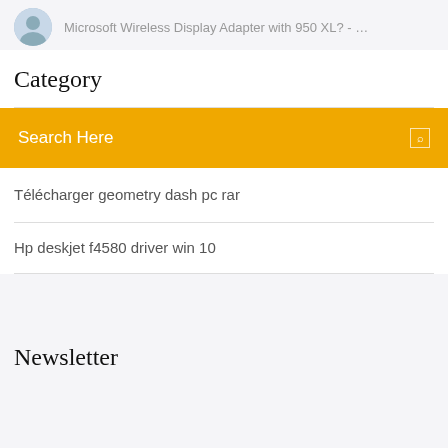Microsoft Wireless Display Adapter with 950 XL? - …
Category
Search Here
Télécharger geometry dash pc rar
Hp deskjet f4580 driver win 10
Newsletter